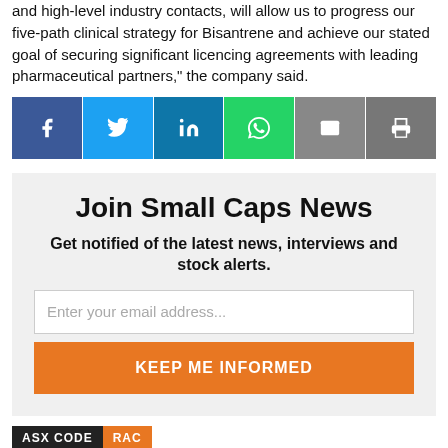and high-level industry contacts, will allow us to progress our five-path clinical strategy for Bisantrene and achieve our stated goal of securing significant licencing agreements with leading pharmaceutical partners," the company said.
[Figure (infographic): Social share buttons: Facebook (blue), Twitter (cyan), LinkedIn (blue), WhatsApp (green), Email (grey), Print (grey)]
Join Small Caps News
Get notified of the latest news, interviews and stock alerts.
Enter your email address...
KEEP ME INFORMED
ASX CODE RAC